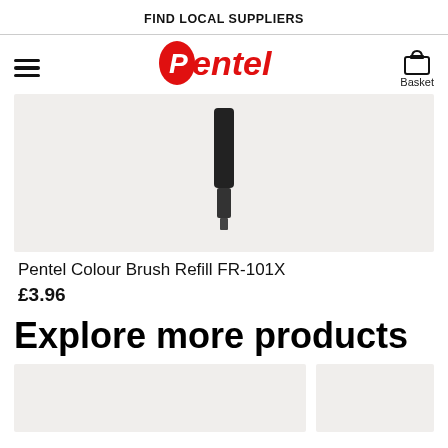FIND LOCAL SUPPLIERS
[Figure (logo): Pentel logo in red italic text with circular P]
[Figure (photo): Pentel Colour Brush Refill FR-101X product image on light grey background, showing black pen tip]
Pentel Colour Brush Refill FR-101X
£3.96
Explore more products
[Figure (photo): Product card image placeholder, light grey background]
[Figure (photo): Product card image placeholder, light grey background, partial view]